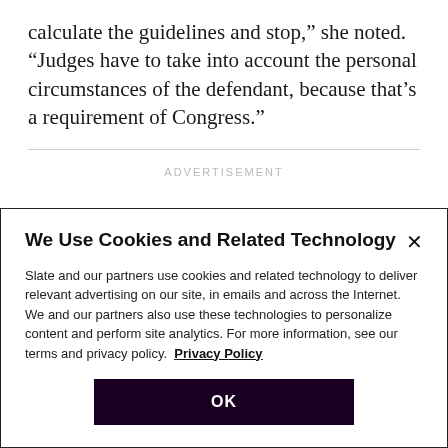calculate the guidelines and stop,” she noted. “Judges have to take into account the personal circumstances of the defendant, because that’s a requirement of Congress.”
ADVERTISEMENT
We Use Cookies and Related Technology
Slate and our partners use cookies and related technology to deliver relevant advertising on our site, in emails and across the Internet. We and our partners also use these technologies to personalize content and perform site analytics. For more information, see our terms and privacy policy. Privacy Policy
OK